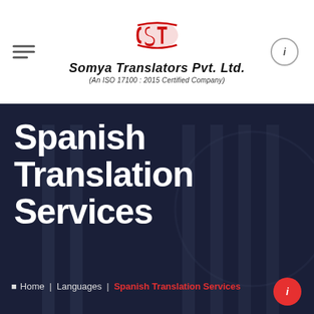[Figure (logo): CST logo with red swoosh letters and Somya Translators Pvt. Ltd. company name with ISO 17100:2015 certification text]
Spanish Translation Services
Home | Languages | Spanish Translation Services